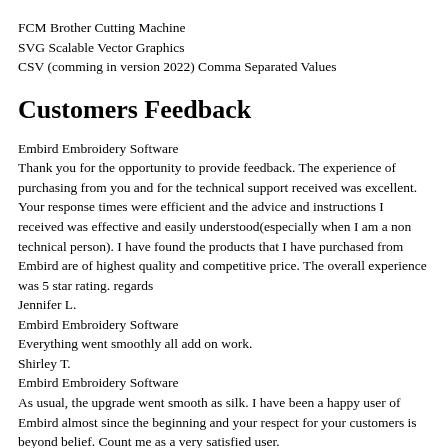FCM Brother Cutting Machine
SVG Scalable Vector Graphics
CSV (comming in version 2022) Comma Separated Values
Customers Feedback
Embird Embroidery Software
Thank you for the opportunity to provide feedback. The experience of purchasing from you and for the technical support received was excellent. Your response times were efficient and the advice and instructions I received was effective and easily understood(especially when I am a non technical person). I have found the products that I have purchased from Embird are of highest quality and competitive price. The overall experience was 5 star rating. regards
Jennifer L.
Embird Embroidery Software
Everything went smoothly all add on work.
Shirley T.
Embird Embroidery Software
As usual, the upgrade went smooth as silk. I have been a happy user of Embird almost since the beginning and your respect for your customers is beyond belief. Count me as a very satisfied user.
Adelyn G.
Embird Embroidery Software